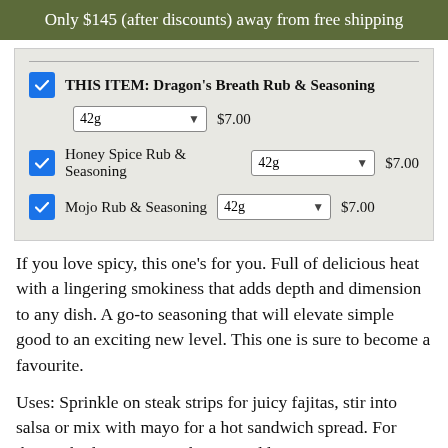Only $145 (after discounts) away from free shipping
THIS ITEM: Dragon's Breath Rub & Seasoning  42g  $7.00
Honey Spice Rub & Seasoning  42g  $7.00
Mojo Rub & Seasoning  42g  $7.00
If you love spicy, this one's for you. Full of delicious heat with a lingering smokiness that adds depth and dimension to any dish. A go-to seasoning that will elevate simple good to an exciting new level. This one is sure to become a favourite.
Uses: Sprinkle on steak strips for juicy fajitas, stir into salsa or mix with mayo for a hot sandwich spread. For those who love spicy and sweet, add to a